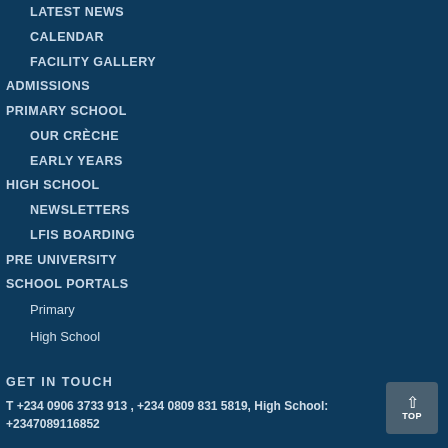LATEST NEWS
CALENDAR
FACILITY GALLERY
ADMISSIONS
PRIMARY SCHOOL
OUR CRÈCHE
EARLY YEARS
HIGH SCHOOL
NEWSLETTERS
LFIS BOARDING
PRE UNIVERSITY
SCHOOL PORTALS
Primary
High School
GET IN TOUCH
T +234 0906 3733 913 , +234 0809 831 5819, High School: +2347089116852